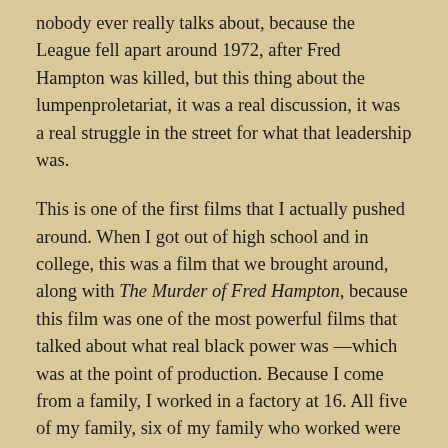nobody ever really talks about, because the League fell apart around 1972, after Fred Hampton was killed, but this thing about the lumpenproletariat, it was a real discussion, it was a real struggle in the street for what that leadership was.
This is one of the first films that I actually pushed around. When I got out of high school and in college, this was a film that we brought around, along with The Murder of Fred Hampton, because this film was one of the most powerful films that talked about what real black power was —which was at the point of production. Because I come from a family, I worked in a factory at 16. All five of my family, six of my family who worked were members at UAW. And yeah, "You ain't white." That's what the union was. And we struggled against the unions at Standard Screw Company. That's the real story of the fact...